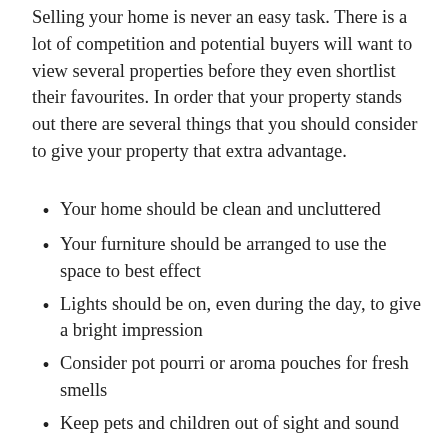Selling your home is never an easy task. There is a lot of competition and potential buyers will want to view several properties before they even shortlist their favourites. In order that your property stands out there are several things that you should consider to give your property that extra advantage.
Your home should be clean and uncluttered
Your furniture should be arranged to use the space to best effect
Lights should be on, even during the day, to give a bright impression
Consider pot pourri or aroma pouches for fresh smells
Keep pets and children out of sight and sound
Gardens should be trim and tidy
Light the way to the front door and make sure it is neat